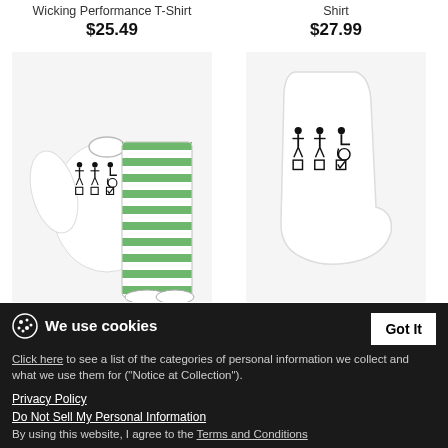Wicking Performance T-Shirt
$25.49
Shirt
$27.99
[Figure (photo): White long-sleeve pajama top with wheelchair user checkbox graphic, paired with green and white striped pajama pants]
[Figure (photo): White ankle sock with wheelchair user checkbox graphic showing three figures (female, male, wheelchair user) with checkbox checked under wheelchair user]
A wheelchair user is also suitable - Unisex Pajama Set
$29.49
A wheelchair user is also suitable - Ankle Sock
$17.99
We use cookies
Click here to see a list of the categories of personal information we collect and what we use them for ("Notice at Collection").
Privacy Policy
Do Not Sell My Personal Information
By using this website, I agree to the Terms and Conditions